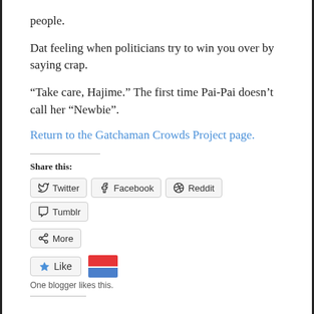people.
Dat feeling when politicians try to win you over by saying crap.
“Take care, Hajime.” The first time Pai-Pai doesn’t call her “Newbie”.
Return to the Gatchaman Crowds Project page.
Share this:
Twitter Facebook Reddit Tumblr More
Like
One blogger likes this.